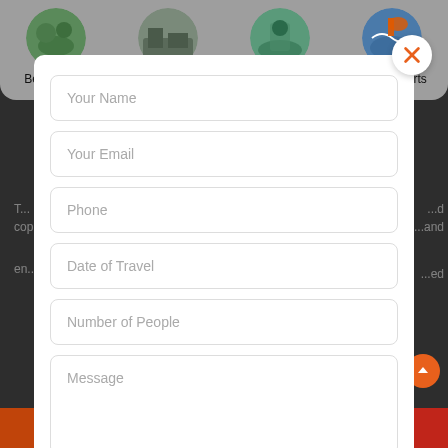[Figure (screenshot): Top navigation bar with four circular category icons: Best Selling, Bestsellers In, Hotselling, Water Sports]
Best Selling
Bestsellers In
Hotselling
Water Sports
[Figure (screenshot): Modal dialog with contact form fields: Your Name, Your Email, Phone, Date of Travel, Number of People, Message, and a privacy assurance note]
Your Name
Your Email
Phone
Date of Travel
Number of People
Message
We assure the privacy of your contact data.